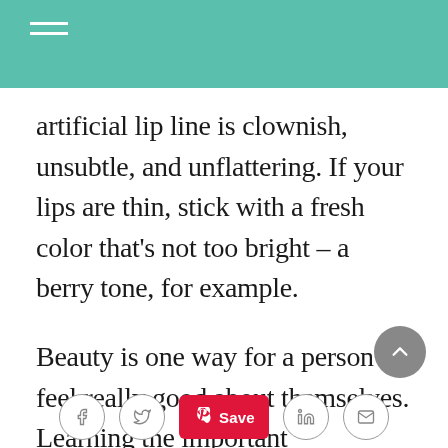artificial lip line is clownish, unsubtle, and unflattering. If your lips are thin, stick with a fresh color that's not too bright – a berry tone, for example.
Beauty is one way for a person to feel really good about themselves. Learning the important information given to you in the above article about beauty tips can help give you the image that you have always wanted, but never knew how to get.